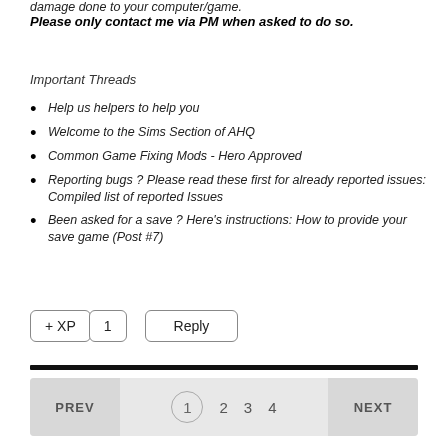damage done to your computer/game.
Please only contact me via PM when asked to do so.
Important Threads
Help us helpers to help you
Welcome to the Sims Section of AHQ
Common Game Fixing Mods - Hero Approved
Reporting bugs ? Please read these first for already reported issues: Compiled list of reported Issues
Been asked for a save ? Here's instructions: How to provide your save game (Post #7)
+ XP  1   Reply
PREV  1  2  3  4  NEXT